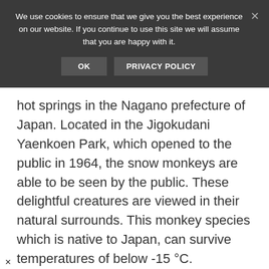We use cookies to ensure that we give you the best experience on our website. If you continue to use this site we will assume that you are happy with it.
hot springs in the Nagano prefecture of Japan. Located in the Jigokudani Yaenkoen Park, which opened to the public in 1964, the snow monkeys are able to be seen by the public. These delightful creatures are viewed in their natural surrounds. This monkey species which is native to Japan, can survive temperatures of below -15 °C.
[Figure (other): Broken image placeholder with link text: Buddy The Traveling Monkey Monkey M...]